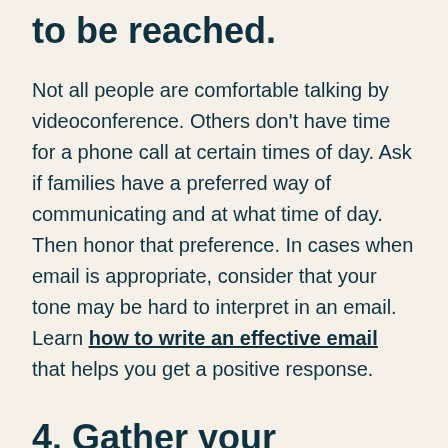to be reached.
Not all people are comfortable talking by videoconference. Others don't have time for a phone call at certain times of day. Ask if families have a preferred way of communicating and at what time of day. Then honor that preference. In cases when email is appropriate, consider that your tone may be hard to interpret in an email. Learn how to write an effective email that helps you get a positive response.
4. Gather your thoughts in advance.